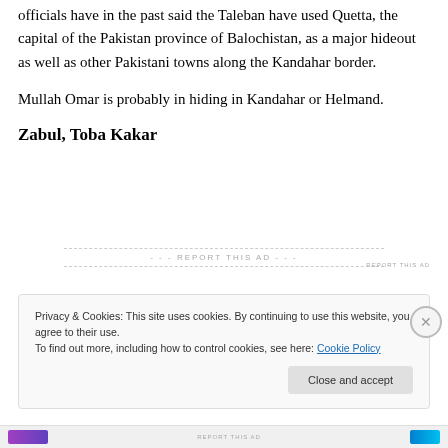officials have in the past said the Taleban have used Quetta, the capital of the Pakistan province of Balochistan, as a major hideout as well as other Pakistani towns along the Kandahar border.
Mullah Omar is probably in hiding in Kandahar or Helmand.
Zabul, Toba Kakar
Privacy & Cookies: This site uses cookies. By continuing to use this website, you agree to their use.
To find out more, including how to control cookies, see here: Cookie Policy